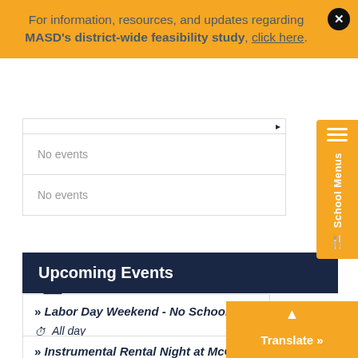For information, resources, and updates regarding MASD's district-wide feasibility study, click here.
No events
No events
Upcoming Events
Labor Day Weekend - No School | All day | September 2, 2022-September 5, 2022
Instrumental Rental Night at McCall | 2:19 pm | September 6, 2022